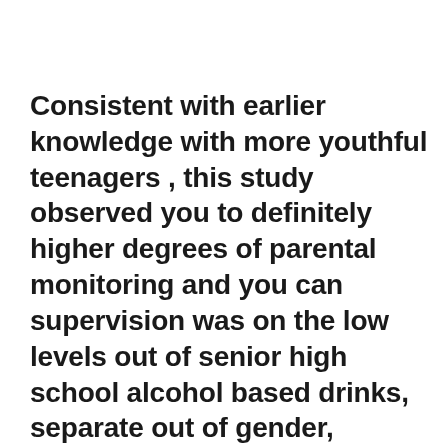Consistent with earlier knowledge with more youthful teenagers , this study observed you to definitely higher degrees of parental monitoring and you can supervision was on the low levels out of senior high school alcohol based drinks, separate out of gender, competition and you can religiosity